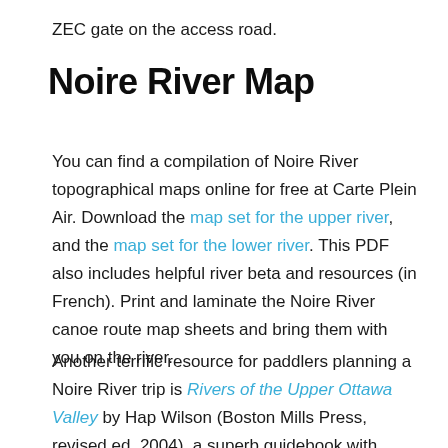ZEC gate on the access road.
Noire River Map
You can find a compilation of Noire River topographical maps online for free at Carte Plein Air. Download the map set for the upper river, and the map set for the lower river. This PDF also includes helpful river beta and resources (in French). Print and laminate the Noire River canoe route map sheets and bring them with you on the river.
Another terrific resource for paddlers planning a Noire River trip is Rivers of the Upper Ottawa Valley by Hap Wilson (Boston Mills Press, revised ed. 2004), a superb guidebook with hand-drawn maps,